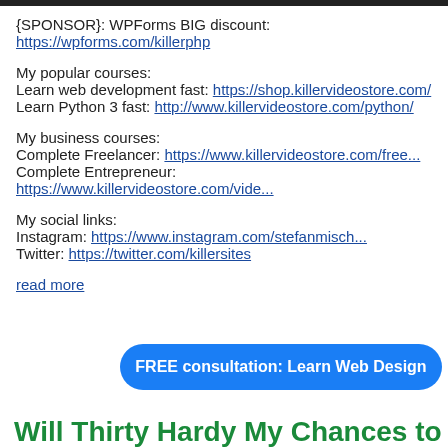{SPONSOR}: WPForms BIG discount: https://wpforms.com/killerphp
My popular courses:
Learn web development fast: https://shop.killervideostore.com/
Learn Python 3 fast: http://www.killervideostore.com/python/
My business courses:
Complete Freelancer: https://www.killervideostore.com/free...
Complete Entrepreneur: https://www.killervideostore.com/vide...
My social links:
Instagram: https://www.instagram.com/stefanmisch...
Twitter: https://twitter.com/killersites
read more
[Figure (other): Blue rounded button with text: FREE consultation: Learn Web Design]
Will Thirty Hardy My Chances to Work?